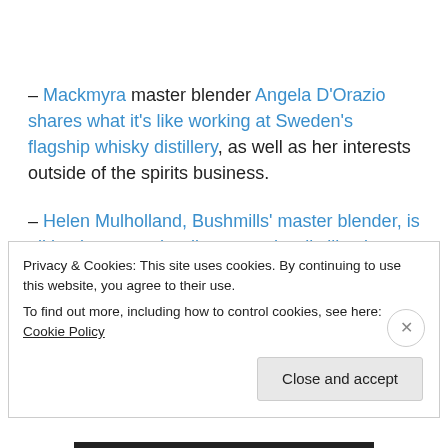– Mackmyra master blender Angela D'Orazio shares what it's like working at Sweden's flagship whisky distillery, as well as her interests outside of the spirits business.
– Helen Mulholland, Bushmills' master blender, is all business as she discusses the distillery's range and packaging. And I second her recommendation of the Black Bush blend, which is one of my own favourites!
Privacy & Cookies: This site uses cookies. By continuing to use this website, you agree to their use. To find out more, including how to control cookies, see here: Cookie Policy